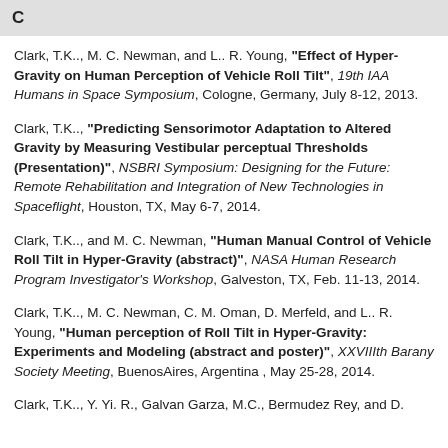C
Clark, T.K.., M. C. Newman, and L.. R. Young, "Effect of Hyper-Gravity on Human Perception of Vehicle Roll Tilt", 19th IAA Humans in Space Symposium, Cologne, Germany, July 8-12, 2013.
Clark, T.K.., "Predicting Sensorimotor Adaptation to Altered Gravity by Measuring Vestibular perceptual Thresholds (Presentation)", NSBRI Symposium: Designing for the Future: Remote Rehabilitation and Integration of New Technologies in Spaceflight, Houston, TX, May 6-7, 2014.
Clark, T.K.., and M. C. Newman, "Human Manual Control of Vehicle Roll Tilt in Hyper-Gravity (abstract)", NASA Human Research Program Investigator's Workshop, Galveston, TX, Feb. 11-13, 2014.
Clark, T.K.., M. C. Newman, C. M. Oman, D. Merfeld, and L.. R. Young, "Human perception of Roll Tilt in Hyper-Gravity: Experiments and Modeling (abstract and poster)", XXVIIIth Barany Society Meeting, BuenosAires, Argentina , May 25-28, 2014.
Clark, T.K.., Y. Yi. R., Galvan Garza, M.C., Bermudez Rey, and D.